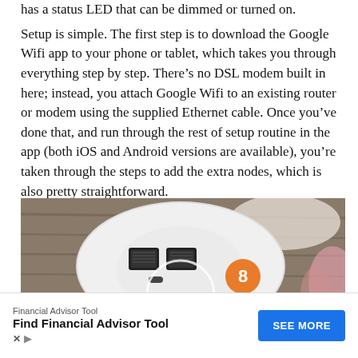has a status LED that can be dimmed or turned on.
Setup is simple. The first step is to download the Google Wifi app to your phone or tablet, which takes you through everything step by step. There's no DSL modem built in here; instead, you attach Google Wifi to an existing router or modem using the supplied Ethernet cable. Once you've done that, and run through the rest of setup routine in the app (both iOS and Android versions are available), you're taken through the steps to add the extra nodes, which is also pretty straightforward.
[Figure (photo): Bottom view of a Google Wifi node showing two Ethernet ports and a USB-C port on a white cylindrical device, placed on a wooden surface with a blurred background. An orange badge with the number 8 is overlaid on the image.]
Financial Advisor Tool
Find Financial Advisor Tool